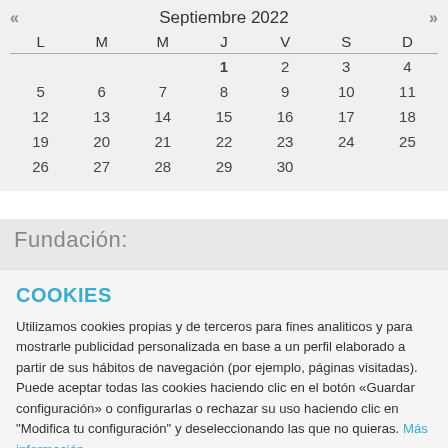| L | M | M | J | V | S | D |
| --- | --- | --- | --- | --- | --- | --- |
|  |  |  | 1 | 2 | 3 | 4 |
| 5 | 6 | 7 | 8 | 9 | 10 | 11 |
| 12 | 13 | 14 | 15 | 16 | 17 | 18 |
| 19 | 20 | 21 | 22 | 23 | 24 | 25 |
| 26 | 27 | 28 | 29 | 30 |  |  |
Fundación:
COOKIES
Utilizamos cookies propias y de terceros para fines analiticos y para mostrarle publicidad personalizada en base a un perfil elaborado a partir de sus hábitos de navegación (por ejemplo, páginas visitadas). Puede aceptar todas las cookies haciendo clic en el botón «Guardar configuración» o configurarlas o rechazar su uso haciendo clic en "Modifica tu configuración" y deseleccionando las que no quieras. Más información